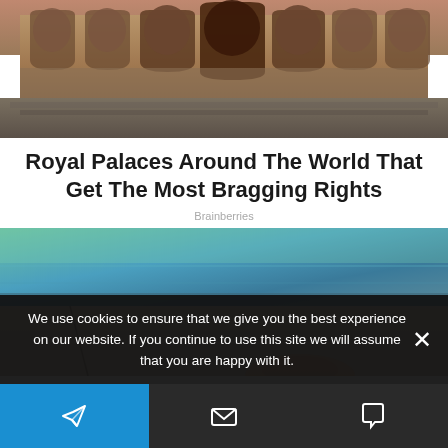[Figure (photo): Photograph of a large stone palace or castle facade with multiple arched niches and windows, warm sandy-brown stone tones, viewed from ground level.]
Royal Palaces Around The World That Get The Most Bragging Rights
Brainberries
[Figure (photo): Photograph of a turquoise-green body of water (pool or ocean) above, and a sandy/concrete surface below with a person's arm/leg visible at the bottom.]
We use cookies to ensure that we give you the best experience on our website. If you continue to use this site we will assume that you are happy with it.